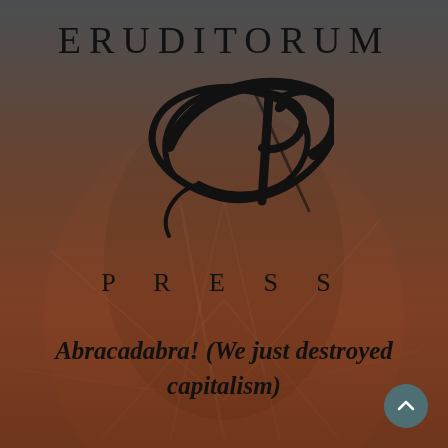ERUDITORUM
[Figure (logo): Eruditorum Press logo: stylized cursive 'EP' monogram in black with sweeping calligraphic strokes]
P R E S S
Abracadabra! (We just destroyed capitalism)